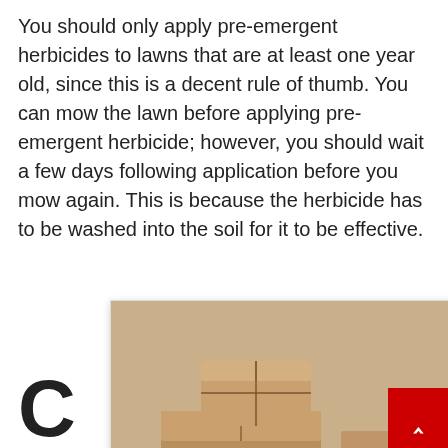You should only apply pre-emergent herbicides to lawns that are at least one year old, since this is a decent rule of thumb. You can mow the lawn before applying pre-emergent herbicide; however, you should wait a few days following application before you mow again. This is because the herbicide has to be washed into the soil for it to be effective.
[Figure (screenshot): An advertisement overlay card showing a photo of cardboard shipping boxes on a desk with a laptop and pencil holder, with a black X close button in the top-right corner. Below the photo is the text 'Read this before you ship that' in bold with a dark circular arrow button, and 'Pitney Bowes' as the source label.]